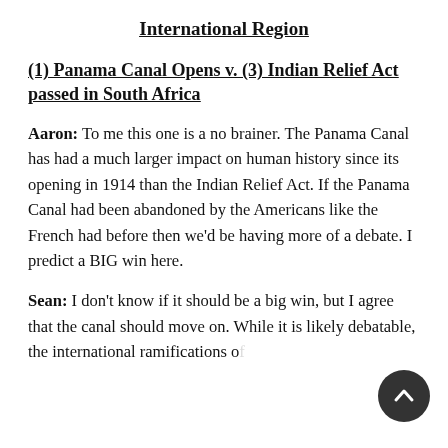International Region
(1) Panama Canal Opens v. (3) Indian Relief Act passed in South Africa
Aaron: To me this one is a no brainer. The Panama Canal has had a much larger impact on human history since its opening in 1914 than the Indian Relief Act. If the Panama Canal had been abandoned by the Americans like the French had before then we'd be having more of a debate. I predict a BIG win here.
Sean: I don't know if it should be a big win, but I agree that the canal should move on. While it is likely debatable, the international ramifications of